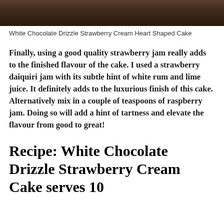[Figure (photo): Top portion of a photo showing a dark wooden surface or cake background]
White Chocolate Drizzle Strawberry Cream Heart Shaped Cake
Finally, using a good quality strawberry jam really adds to the finished flavour of the cake. I used a strawberry daiquiri jam with its subtle hint of white rum and lime juice. It definitely adds to the luxurious finish of this cake. Alternatively mix in a couple of teaspoons of raspberry jam. Doing so will add a hint of tartness and elevate the flavour from good to great!
Recipe: White Chocolate Drizzle Strawberry Cream Cake serves 10